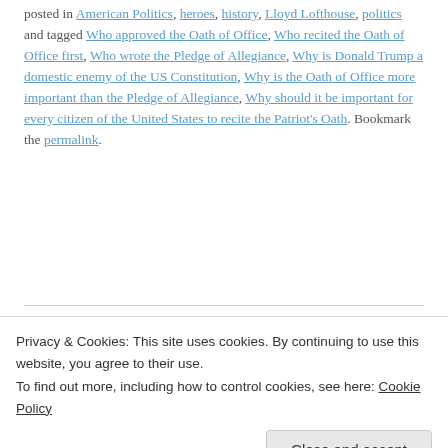posted in American Politics, heroes, history, Lloyd Lofthouse, politics and tagged Who approved the Oath of Office, Who recited the Oath of Office first, Who wrote the Pledge of Allegiance, Why is Donald Trump a domestic enemy of the US Constitution, Why is the Oath of Office more important than the Pledge of Allegiance, Why should it be important for every citizen of the United States to recite the Patriot's Oath. Bookmark the permalink.
← Military Slang during the Vietnam War
Vietnam: The Real War – in pictures →
18 thoughts on "The U.S. Pledge of
Privacy & Cookies: This site uses cookies. By continuing to use this website, you agree to their use. To find out more, including how to control cookies, see here: Cookie Policy
Close and accept
February 13, 2019 at 02:13